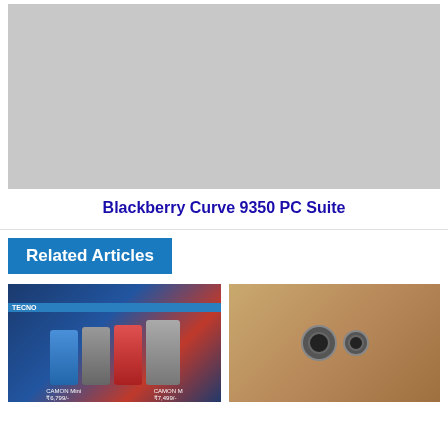[Figure (photo): Gray placeholder image for Blackberry Curve 9350 PC Suite article]
Blackberry Curve 9350 PC Suite
Related Articles
[Figure (photo): Tecno Camon phones promotional image showing multiple phone models with prices ₹6,799/- and ₹7,499/-]
[Figure (photo): Gold colored smartphone back showing dual camera module and fingerprint reader]